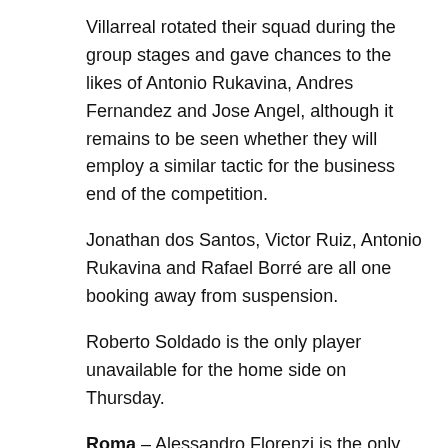Villarreal rotated their squad during the group stages and gave chances to the likes of Antonio Rukavina, Andres Fernandez and Jose Angel, although it remains to be seen whether they will employ a similar tactic for the business end of the competition.
Jonathan dos Santos, Victor Ruiz, Antonio Rukavina and Rafael Borré are all one booking away from suspension.
Roberto Soldado is the only player unavailable for the home side on Thursday.
Roma – Alessandro Florenzi is the only Roma player unable to make the trip to Spain for the first leg of their Europa League clash with Villarreal.
The Europa League will give Roma manager Luciano Spalletti the chance to rotate his players with the likes of Leandro Paredes, Alisson, Juan Jesus set for minutes on Thursday.
Paredes will incur a ban in the Europa League with his next